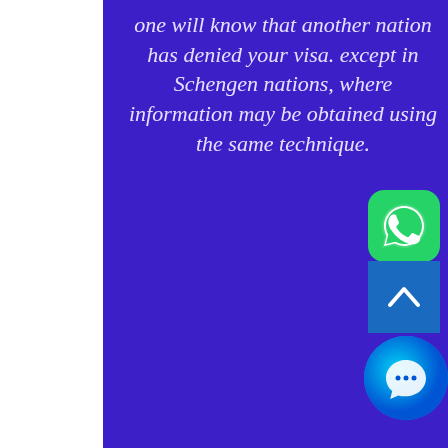one will know that another nation has denied your visa. except in Schengen nations, where information may be obtained using the same technique.
[Figure (logo): WhatsApp app icon — green rounded square with white phone handset]
[Figure (other): Scroll-to-top button — blue square with white upward chevron arrow]
[Figure (other): Chat/support button — cyan-blue circular button with white speech bubble icon]